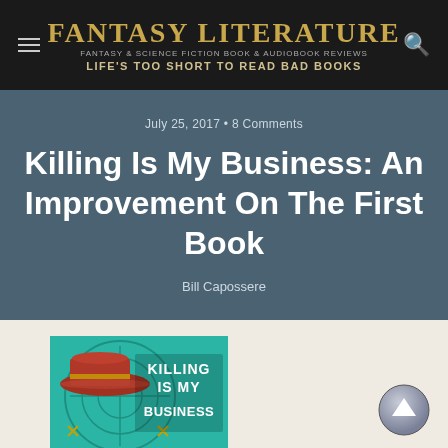Fantasy Literature — Fantasy & Science Fiction Book & Audiobook Reviews — Life's too short to Read Bad Books
July 25, 2017 • 8 Comments
Killing Is My Business: An Improvement On The First Book
Bill Capossere
[Figure (photo): Book cover of 'Killing Is My Business' showing a stylized retro image with a red hat on a teal background with crosshair/target designs and bold white text reading KILLING IS MY BUSINESS]